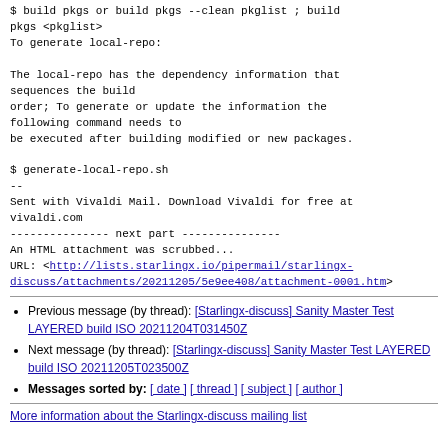$ build pkgs or build pkgs --clean pkglist ; build pkgs <pkglist>
To generate local-repo:

The local-repo has the dependency information that sequences the build
order; To generate or update the information the following command needs to
be executed after building modified or new packages.

$ generate-local-repo.sh
--
Sent with Vivaldi Mail. Download Vivaldi for free at vivaldi.com
--------------- next part ---------------
An HTML attachment was scrubbed...
URL: <http://lists.starlingx.io/pipermail/starlingx-discuss/attachments/20211205/5e9ee408/attachment-0001.htm>
Previous message (by thread): [Starlingx-discuss] Sanity Master Test LAYERED build ISO 20211204T031450Z
Next message (by thread): [Starlingx-discuss] Sanity Master Test LAYERED build ISO 20211205T023500Z
Messages sorted by: [ date ] [ thread ] [ subject ] [ author ]
More information about the Starlingx-discuss mailing list